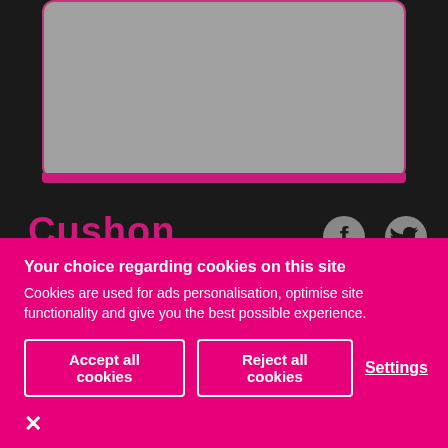[Figure (screenshot): Gray card/panel with rounded corners and magenta border at top of page]
Cushon
[Figure (illustration): Facebook and Twitter social media icons in gray]
About
Products
About Us
ISA
Your choice regarding cookies on this site
Cookies are used for ads personalisation, optimise site functionality and give you the best possible experience.
Accept all cookies
Reject all cookies
Settings
×